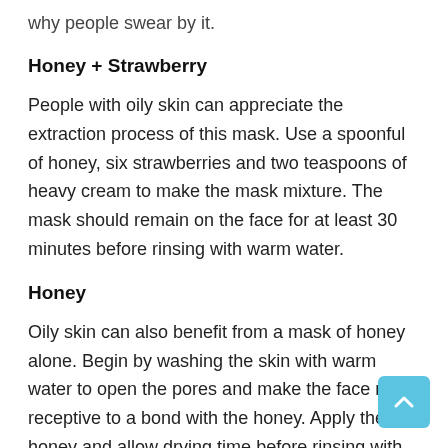why people swear by it.
Honey + Strawberry
People with oily skin can appreciate the extraction process of this mask. Use a spoonful of honey, six strawberries and two teaspoons of heavy cream to make the mask mixture. The mask should remain on the face for at least 30 minutes before rinsing with warm water.
Honey
Oily skin can also benefit from a mask of honey alone. Begin by washing the skin with warm water to open the pores and make the face more receptive to a bond with the honey. Apply the honey and allow drying time before rinsing with warm water again. After your face dries, wash once more with cold water to close the pores.
The best thing of all about these skin care recipes is that they can be used as often as you like without any worry of applying them too often. However, beginning with natural ingredients